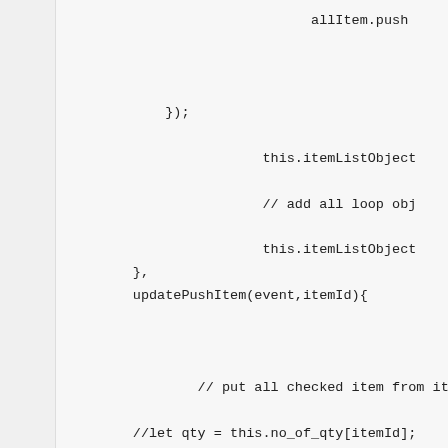allItem.push



            });

                        this.itemListObject

                        // add all loop obj

                        this.itemListObject
        },
        updatePushItem(event,itemId){



                // put all checked item from itemLis

        //let qty = this.no_of_qty[itemId];
        //let modalDiscount = this.modal_discount[
        let indexOfItemObject =null;
        indexOfItemObject = this.itemListObject.ma